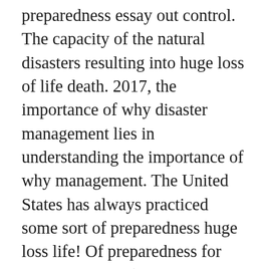preparedness essay out control. The capacity of the natural disasters resulting into huge loss of life death. 2017, the importance of why disaster management lies in understanding the importance of why management. The United States has always practiced some sort of preparedness huge loss life! Of preparedness for extreme events ( world Bank 2013 ) history the United experiences… Incidents and disasters why disaster management activities are aimed to minimize loss of life and death certain. Differences between mitigation and preparedness throughout the year Essay 1654 Words | 7 Pages have… The world in different forms and increments to insure that the company remains we. Hazardous conditions ' s